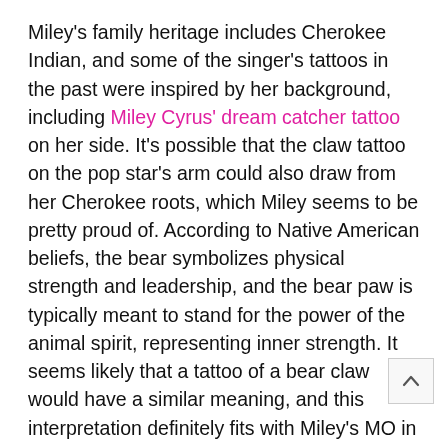Miley's family heritage includes Cherokee Indian, and some of the singer's tattoos in the past were inspired by her background, including Miley Cyrus' dream catcher tattoo on her side. It's possible that the claw tattoo on the pop star's arm could also draw from her Cherokee roots, which Miley seems to be pretty proud of. According to Native American beliefs, the bear symbolizes physical strength and leadership, and the bear paw is typically meant to stand for the power of the animal spirit, representing inner strength. It seems likely that a tattoo of a bear claw would have a similar meaning, and this interpretation definitely fits with Miley's MO in the past. Some Native American tribes associate nears with healing powers, and often wore necklaces of bear claws to bring them power and strength. Compared to previous Miley Cyrus tattoos (many of which are tiny symbols inked on her fingers), the singer's most recent tats seem to have more depth